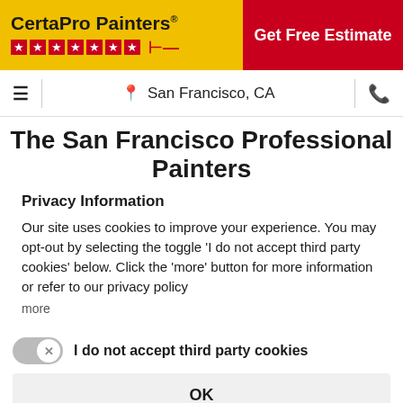[Figure (logo): CertaPro Painters logo with star rating row on yellow background, and 'Get Free Estimate' red button on the right]
San Francisco, CA
The San Francisco Professional Painters
Privacy Information
Our site uses cookies to improve your experience. You may opt-out by selecting the toggle 'I do not accept third party cookies' below. Click the 'more' button for more information or refer to our privacy policy
more
I do not accept third party cookies
OK
Powered by Usercentrics Consent Management